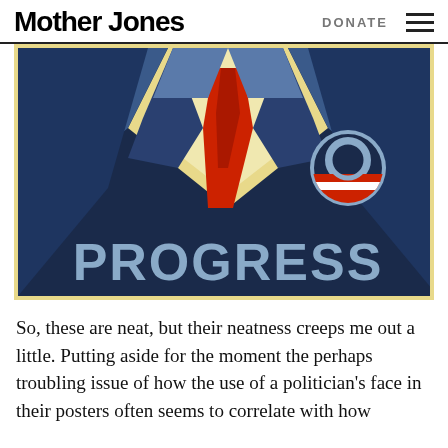Mother Jones   DONATE
[Figure (illustration): Obama-style 'PROGRESS' campaign poster illustration showing a stylized figure in a suit with red tie, dark navy blue background, large grey text reading PROGRESS at the bottom, and a circular Obama campaign logo badge on the right side. Poster has a cream/yellow border.]
So, these are neat, but their neatness creeps me out a little. Putting aside for the moment the perhaps troubling issue of how the use of a politician’s face in their posters often seems to correlate with how